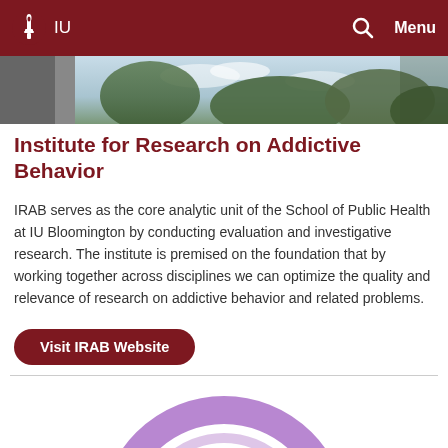IU  Menu
[Figure (photo): Outdoor photo showing trees and sky, appears to be a campus scene cropped at the top]
Institute for Research on Addictive Behavior
IRAB serves as the core analytic unit of the School of Public Health at IU Bloomington by conducting evaluation and investigative research. The institute is premised on the foundation that by working together across disciplines we can optimize the quality and relevance of research on addictive behavior and related problems.
Visit IRAB Website
[Figure (other): Partial view of a circular/donut graphic in purple tones at the bottom of the page]